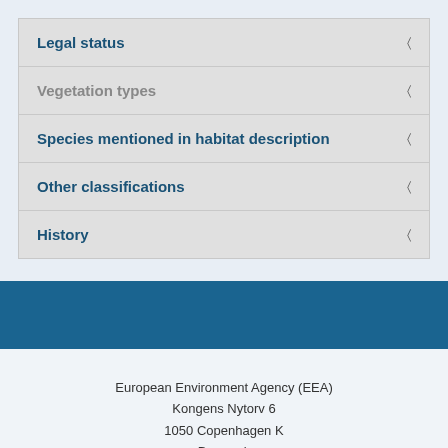Legal status
Vegetation types
Species mentioned in habitat description
Other classifications
History
European Environment Agency (EEA)
Kongens Nytorv 6
1050 Copenhagen K
Denmark
Phone: +45 3336 7100